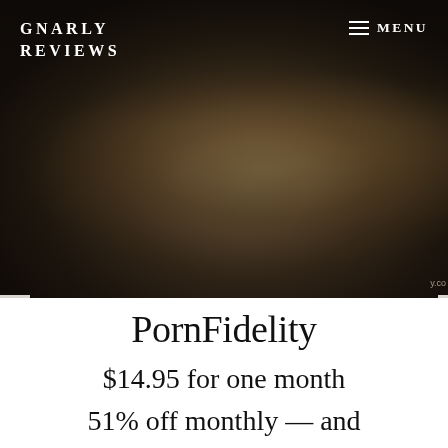GNARLY REVIEWS
PornFidelity Discount
PornFidelity
$14.95 for one month
51% off monthly — and